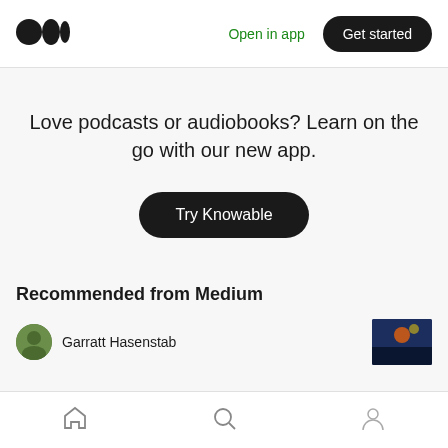[Figure (logo): Medium logo — two overlapping circles (black)]
Open in app
Get started
Love podcasts or audiobooks? Learn on the go with our new app.
Try Knowable
Recommended from Medium
Garratt Hasenstab